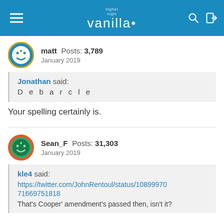higher logic vanilla
matt  Posts: 3,789  January 2019
Jonathan said:
Debarcle
Your spelling certainly is.
Sean_F  Posts: 31,303  January 2019
kle4 said:
https://twitter.com/JohnRentoul/status/1089997071669751818
That's Cooper' amendment's passed then, isn't it?